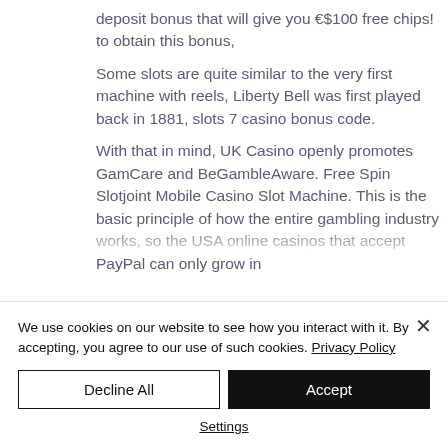deposit bonus that will give you €$100 free chips! to obtain this bonus, Some slots are quite similar to the very first machine with reels, Liberty Bell was first played back in 1881, slots 7 casino bonus code. With that in mind, UK Casino openly promotes GamCare and BeGambleAware. Free Spin Slotjoint Mobile Casino Slot Machine. This is the basic principle of how the entire gambling industry works, so the USA online casinos that accept PayPal can only grow in
We use cookies on our website to see how you interact with it. By accepting, you agree to our use of such cookies. Privacy Policy
Decline All
Accept
Settings